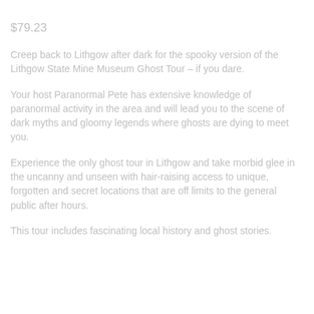$79.23
Creep back to Lithgow after dark for the spooky version of the Lithgow State Mine Museum Ghost Tour – if you dare.
Your host Paranormal Pete has extensive knowledge of paranormal activity in the area and will lead you to the scene of dark myths and gloomy legends where ghosts are dying to meet you.
Experience the only ghost tour in Lithgow and take morbid glee in the uncanny and unseen with hair-raising access to unique, forgotten and secret locations that are off limits to the general public after hours.
This tour includes fascinating local history and ghost stories.